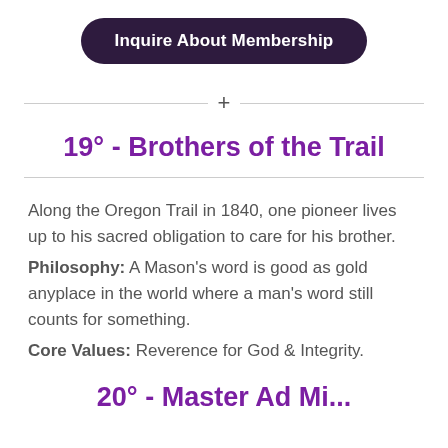Inquire About Membership
19° - Brothers of the Trail
Along the Oregon Trail in 1840, one pioneer lives up to his sacred obligation to care for his brother. Philosophy: A Mason's word is good as gold anyplace in the world where a man's word still counts for something. Core Values: Reverence for God & Integrity.
20° - Master Ad Vi...